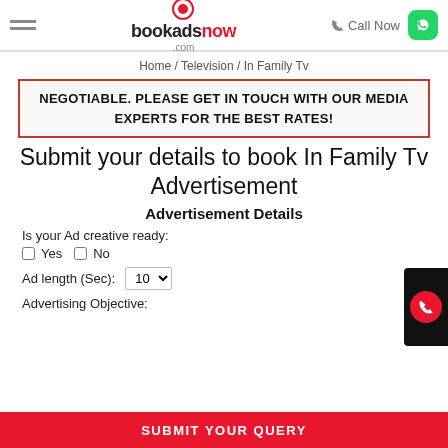bookadsnow.com | Call Now
Home / Television / In Family Tv
NEGOTIABLE. PLEASE GET IN TOUCH WITH OUR MEDIA EXPERTS FOR THE BEST RATES!
Submit your details to book In Family Tv Advertisement
Advertisement Details
Is your Ad creative ready:
Yes
No
Ad length (Sec): 10
Advertising Objective:
SUBMIT YOUR QUERY